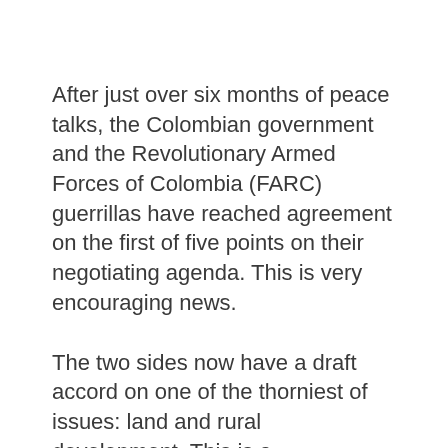After just over six months of peace talks, the Colombian government and the Revolutionary Armed Forces of Colombia (FARC) guerrillas have reached agreement on the first of five points on their negotiating agenda. This is very encouraging news.
The two sides now have a draft accord on one of the thorniest of issues: land and rural development. This is a breakthrough for Colombia, where land tenure lies at the center of rural violence going back at least as far as 1948.
This is the fourth time in 30 years that the Colombian government and the FARC (founded in 1964) have sat down to negotiate. And this is